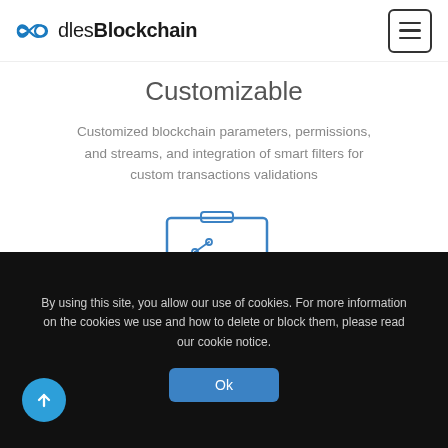OodlesBlockchain [hamburger menu]
Customizable
Customized blockchain parameters, permissions, and streams, and integration of smart filters for custom transactions validations
[Figure (illustration): Blue line-art icon of a presentation board/easel with a chart showing bar graphs and a line graph with dots, plus a magnifying glass overlay]
By using this site, you allow our use of cookies. For more information on the cookies we use and how to delete or block them, please read our cookie notice.